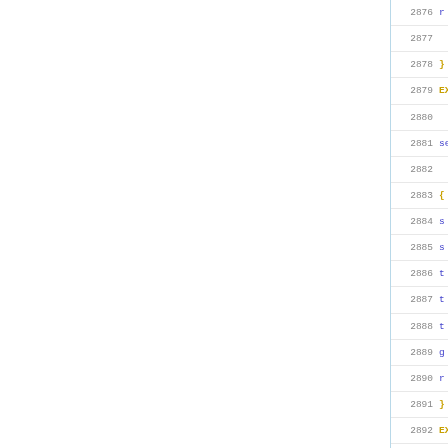[Figure (screenshot): Source code editor view showing line numbers 2876-2895+ with code content partially visible on the right side. Left portion is blank white space with a vertical blue border line separating it from the code panel.]